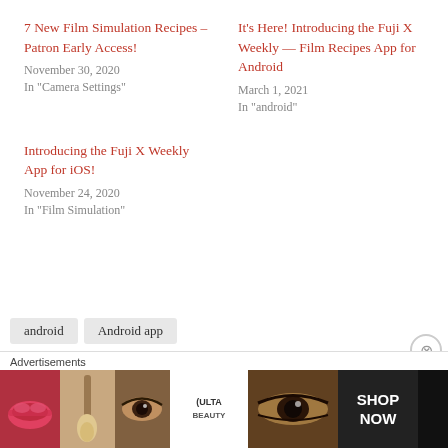7 New Film Simulation Recipes – Patron Early Access!
November 30, 2020
In "Camera Settings"
It's Here! Introducing the Fuji X Weekly — Film Recipes App for Android
March 1, 2021
In "android"
Introducing the Fuji X Weekly App for iOS!
November 24, 2020
In "Film Simulation"
android   Android app   Film Simulation Recipe app   Fuji X Weekly
[Figure (photo): ULTA beauty advertisement banner showing makeup close-ups with lips, brush, eye, ULTA logo, and SHOP NOW call to action]